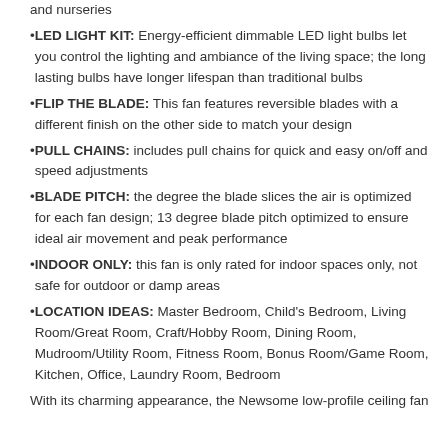and nurseries
LED LIGHT KIT: Energy-efficient dimmable LED light bulbs let you control the lighting and ambiance of the living space; the long lasting bulbs have longer lifespan than traditional bulbs
FLIP THE BLADE: This fan features reversible blades with a different finish on the other side to match your design
PULL CHAINS: includes pull chains for quick and easy on/off and speed adjustments
BLADE PITCH: the degree the blade slices the air is optimized for each fan design; 13 degree blade pitch optimized to ensure ideal air movement and peak performance
INDOOR ONLY: this fan is only rated for indoor spaces only, not safe for outdoor or damp areas
LOCATION IDEAS: Master Bedroom, Child's Bedroom, Living Room/Great Room, Craft/Hobby Room, Dining Room, Mudroom/Utility Room, Fitness Room, Bonus Room/Game Room, Kitchen, Office, Laundry Room, Bedroom
With its charming appearance, the Newsome low-profile ceiling fan